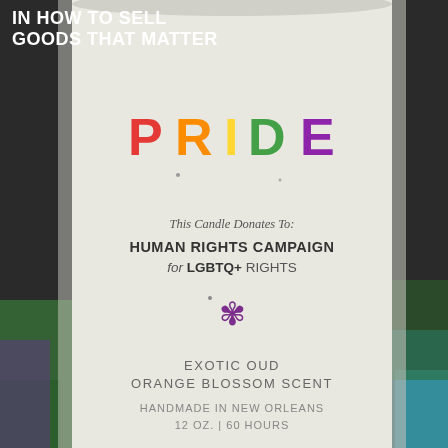IN HOW TO SELL GOODS THAT MATTER
[Figure (photo): Close-up photograph of a white cylindrical candle with a label reading PRIDE in rainbow-colored letters, with text underneath: 'This Candle Donates To: HUMAN RIGHTS CAMPAIGN for LGBTQ+ RIGHTS', a purple fleur-de-lis symbol, 'EXOTIC OUD ORANGE BLOSSOM SCENT', 'HANDMADE IN NEW ORLEANS', '12 OZ. | 60 HOURS'. Green, purple, and teal packaging visible in background.]